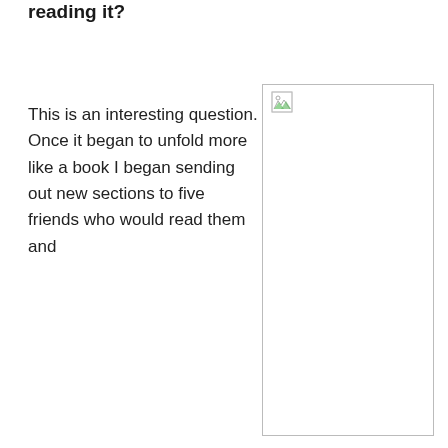reading it?
This is an interesting question. Once it began to unfold more like a book I began sending out new sections to five friends who would read them and
[Figure (photo): A broken/missing image placeholder box with a small broken image icon in the top-left corner]